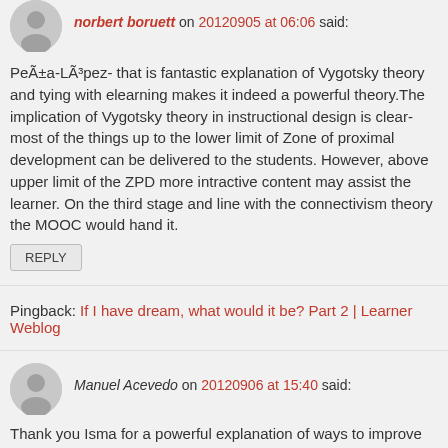norbert boruett on 20120905 at 06:06 said:
PeÃ±a-LÃ³pez- that is fantastic explanation of Vygotsky theory and tying with elearning makes it indeed a powerful theory.The implication of Vygotsky theory in instructional design is clear- most of the things up to the lower limit of Zone of proximal development can be delivered to the students. However, above upper limit of the ZPD more intractive content may assist the learner. On the third stage and line with the connectivism theory the MOOC would hand it.
REPLY
Pingback: If I have dream, what would it be? Part 2 | Learner Weblog
Manuel Acevedo on 20120906 at 15:40 said:
Thank you Isma for a powerful explanation of ways to improve